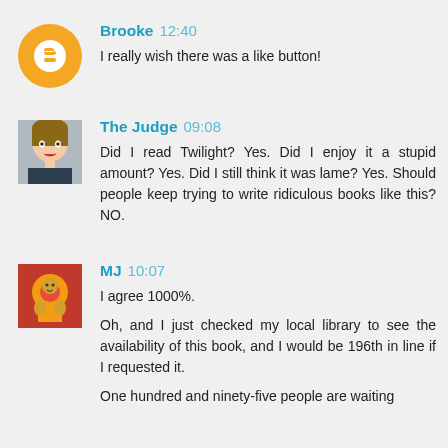Brooke 12:40
I really wish there was a like button!
The Judge 09:08
Did I read Twilight? Yes. Did I enjoy it a stupid amount? Yes. Did I still think it was lame? Yes. Should people keep trying to write ridiculous books like this? NO.
MJ 10:07
I agree 1000%.
Oh, and I just checked my local library to see the availability of this book, and I would be 196th in line if I requested it.
One hundred and ninety-five people are waiting